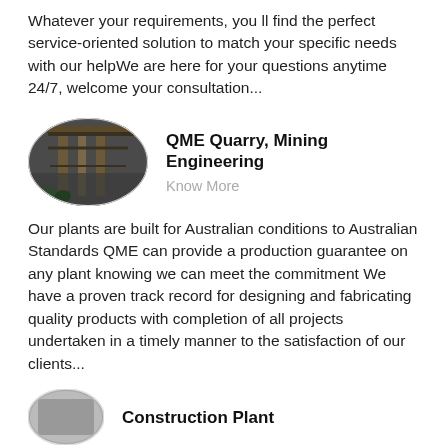Whatever your requirements, you ll find the perfect service-oriented solution to match your specific needs with our helpWe are here for your questions anytime 24/7, welcome your consultation...
[Figure (photo): Oval/elliptical photo of an industrial quarry or mining plant structure with large columns and overhead framework, dark industrial setting]
QME Quarry, Mining Engineering
Know More
Our plants are built for Australian conditions to Australian Standards QME can provide a production guarantee on any plant knowing we can meet the commitment We have a proven track record for designing and fabricating quality products with completion of all projects undertaken in a timely manner to the satisfaction of our clients...
[Figure (photo): Partial oval/elliptical photo at bottom of page, appears to be a construction plant image, partially cut off]
Construction Plant